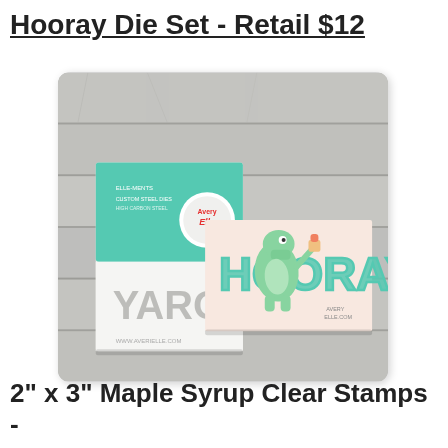Hooray Die Set - Retail $12
[Figure (photo): Photo of Avery Elle Hooray Die Set packaging alongside a completed card featuring a cartoon alligator and the word HOORAY in teal letters, displayed on a light gray wood-plank surface.]
2" x 3" Maple Syrup Clear Stamps -